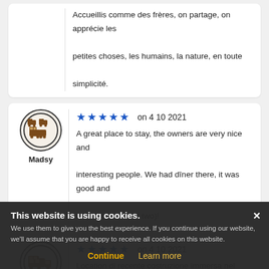Accueillis comme des frères, on partage, on apprécie les petites choses, les humains, la nature, en toute simplicité.
[Figure (illustration): Circular avatar icon showing campervans/RVs in brown on beige background with dark border, labeled Madsy]
★★★★★ on 4 10 2021
A great place to stay, the owners are very nice and interesting people. We had dîner there, it was good and only 10 euros (for two)!
[Figure (illustration): Circular avatar icon showing a motorhome/RV in brown on beige background with dark border, labeled Danielship]
★★★★★ on 4 10 2021
Location di recente costruzione immersa nel verde e ... enorme e ... cucina. Uno dei ... migliori del Montenegro e di molti di quelli della Croazia super consigliato!! Daniel
This website is using cookies. We use them to give you the best experience. If you continue using our website, we'll assume that you are happy to receive all cookies on this website.
Continue   Learn more